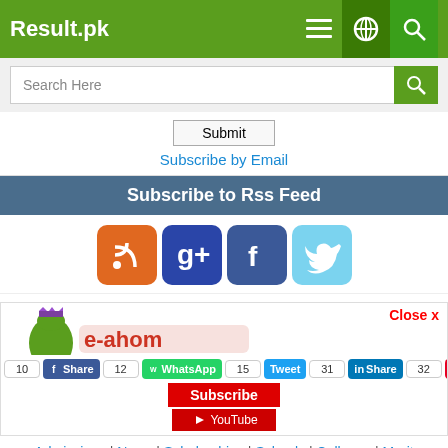Result.pk
Search Here
Submit
Subscribe by Email
Subscribe to Rss Feed
[Figure (logo): Social media icons: RSS (orange), Google+ (blue), Facebook (blue), Twitter (light blue)]
[Figure (illustration): A cartoon green character with a crown and red text logo]
Close x
10 | 12 | 15 | 31 | 32
Share | WhatsApp | Tweet | Share | Pin
Subscribe | YouTube
Admissions | News | Scholarships | Schools | Colleges | Merit Calculator | Ranking